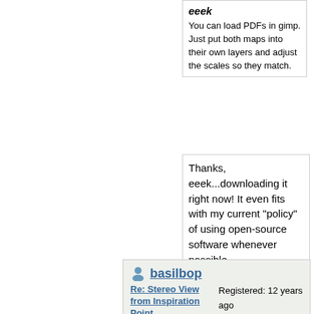eeek
You can load PDFs in gimp. Just put both maps into their own layers and adjust the scales so they match.
Thanks, eeek...downloading it right now! It even fits with my current "policy" of using open-source software whenever possible. 🙂

--David
basilbop
Re: Stereo View from Inspiration Point
February 08,
Registered: 12 years ago
Posts: 861